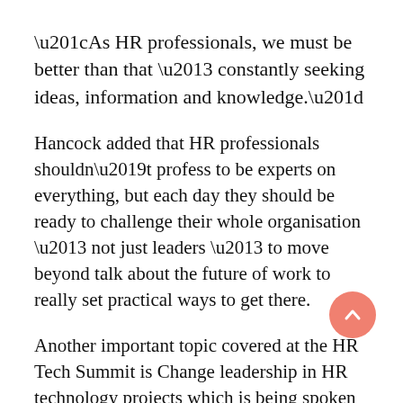“As HR professionals, we must be better than that – constantly seeking ideas, information and knowledge.”
Hancock added that HR professionals shouldn’t profess to be experts on everything, but each day they should be ready to challenge their whole organisation – not just leaders – to move beyond talk about the future of work to really set practical ways to get there.
Another important topic covered at the HR Tech Summit is Change leadership in HR technology projects which is being spoken about by David Dunne, director, Workday Service Delivery at Alight